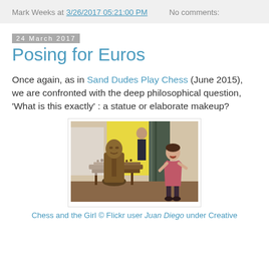Mark Weeks at 3/26/2017 05:21:00 PM   No comments:
24 March 2017
Posing for Euros
Once again, as in Sand Dudes Play Chess (June 2015), we are confronted with the deep philosophical question, 'What is this exactly' : a statue or elaborate makeup?
[Figure (photo): A bronze chess player statue seated at a chess board, with a young girl in a pink dress laughing beside it, posed as if reacting to the statue.]
Chess and the Girl © Flickr user Juan Diego under Creative C...